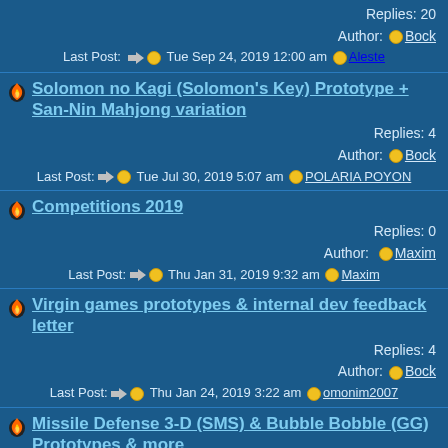Replies: 20
Author: Bock
Last Post: Tue Sep 24, 2019 12:00 am Aleste
Solomon no Kagi (Solomon's Key) Prototype + San-Nin Mahjong variation
Replies: 4
Author: Bock
Last Post: Tue Jul 30, 2019 5:07 am POLARIA POYON
Competitions 2019
Replies: 0
Author: Maxim
Last Post: Thu Jan 31, 2019 9:32 am Maxim
Virgin games prototypes & internal dev feedback letter
Replies: 4
Author: Bock
Last Post: Thu Jan 24, 2019 3:22 am omonim2007
Missile Defense 3-D (SMS) & Bubble Bobble (GG) Prototypes & more
Replies: 10
Author: Bock